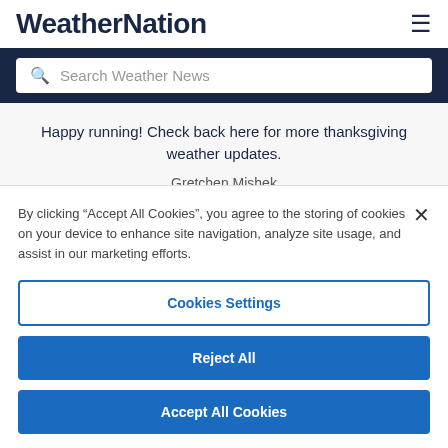WeatherNation
Search Weather News
Happy running! Check back here for more thanksgiving weather updates.
Gretchen Mishek
By clicking “Accept All Cookies”, you agree to the storing of cookies on your device to enhance site navigation, analyze site usage, and assist in our marketing efforts.
Cookies Settings
Reject All
Accept All Cookies